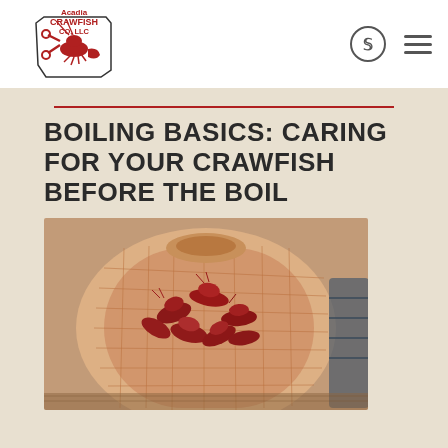[Figure (logo): Acadia Crawfish Co, LLC logo with crawfish and Louisiana state outline]
BOILING BASICS: CARING FOR YOUR CRAWFISH BEFORE THE BOIL
[Figure (photo): Photo of live crawfish in a mesh/burlap sack]